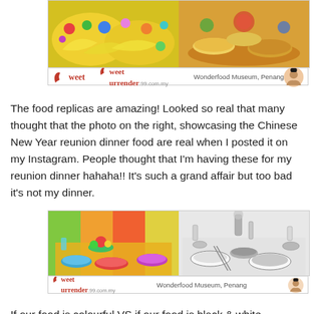[Figure (photo): Two food photos side by side at top: left shows colorful yellow/green food replicas, right shows Chinese New Year reunion dinner food replicas. Sweet Surrender watermark with 'Wonderfood Museum, Penang' caption.]
The food replicas are amazing! Looked so real that many thought that the photo on the right, showcasing the Chinese New Year reunion dinner food are real when I posted it on my Instagram. People thought that I'm having these for my reunion dinner hahaha!! It's such a grand affair but too bad it's not my dinner.
[Figure (photo): Two food photos side by side at bottom: left shows colourful reunion dinner table setting with bright colours, right shows black & white photo of same or similar dinner table setting. Sweet Surrender watermark with 'Wonderfood Museum, Penang' caption.]
If our food is colourful VS if our food is black & white.